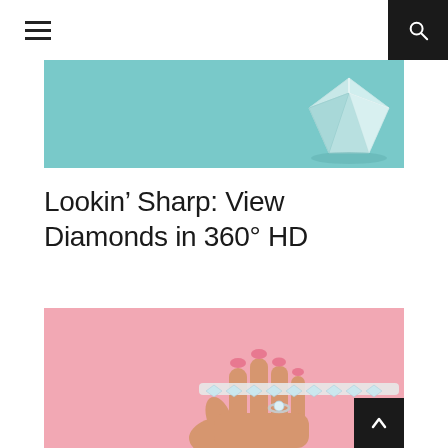[Figure (photo): Close-up photo of a diamond on a teal/mint blue fabric background]
Lookin’ Sharp: View Diamonds in 360° HD
[Figure (photo): A hand with pink nails holding up a strip of diamonds against a pink background, with a diamond ring on finger]